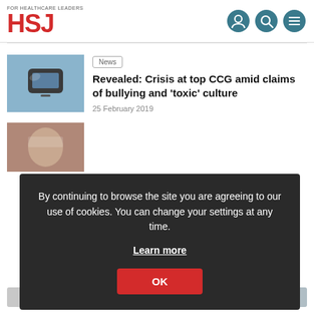[Figure (logo): HSJ logo with tagline 'For Healthcare Leaders' in red and grey]
[Figure (illustration): Header icons: user/person circle, search circle, menu circle in teal]
[Figure (photo): Thumbnail photo of a phone/device object]
News
Revealed: Crisis at top CCG amid claims of bullying and 'toxic' culture
25 February 2019
By continuing to browse the site you are agreeing to our use of cookies. You can change your settings at any time. Learn more OK